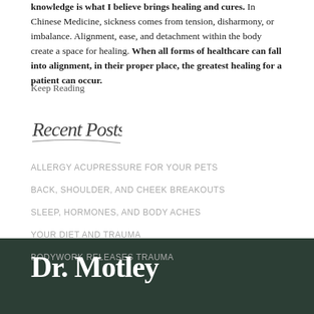knowledge is what I believe brings healing and cures. In Chinese Medicine, sickness comes from tension, disharmony, or imbalance. Alignment, ease, and detachment within the body create a space for healing. When all forms of healthcare can fall into alignment, in their proper place, the greatest healing for a patient can occur.
Keep Reading
[Figure (illustration): Handwritten cursive script signature reading 'Recent Posts']
ALLERGY ACUPRESSURE FOR YOUR PETS
BACK, SHOULDER, AND CHEEK BREAKOUTS
SLEEP, HORMONES, AND BODY ACHES
YOUR DIET AND TRAUMA
BODYWORK RELEASES TRAUMA
Dr. Motley